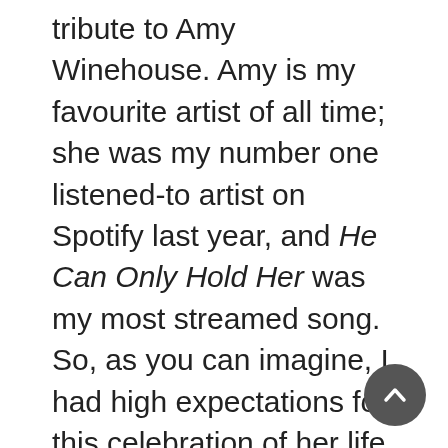tribute to Amy Winehouse. Amy is my favourite artist of all time; she was my number one listened-to artist on Spotify last year, and He Can Only Hold Her was my most streamed song. So, as you can imagine, I had high expectations for this celebration of her life and musical career. The intimacy constructed by the exhibition between viewer and Amy's dresses, interviews and music did not disappoint.
From the moment you descend the narrow white stairwell into the exhibition, you are immediately transported into the world that was Amy's. Pages from her childhood